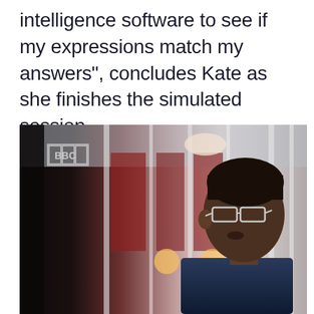intelligence software to see if my expressions match my answers", concludes Kate as she finishes the simulated session.
[Figure (photo): BBC television screenshot showing a man wearing glasses and a dark suit jacket, in profile/three-quarter view, with a blurred office/studio background featuring glass partitions and warm lighting. BBC logo visible in the top-left corner of the image.]